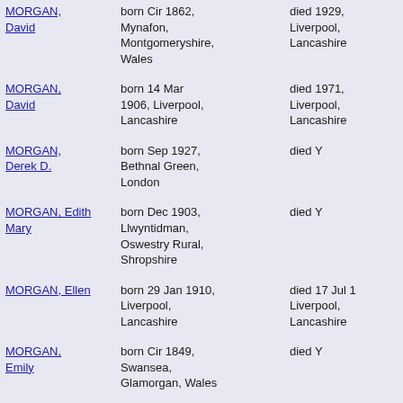MORGAN, David | born Cir 1862, Mynafon, Montgomeryshire, Wales | died 1929, Liverpool, Lancashire
MORGAN, David | born 14 Mar 1906, Liverpool, Lancashire | died 1971, Liverpool, Lancashire
MORGAN, Derek D. | born Sep 1927, Bethnal Green, London | died Y
MORGAN, Edith Mary | born Dec 1903, Llwyntidman, Oswestry Rural, Shropshire | died Y
MORGAN, Ellen | born 29 Jan 1910, Liverpool, Lancashire | died 17 Jul 1, Liverpool, Lancashire
MORGAN, Emily | born Cir 1849, Swansea, Glamorgan, Wales | died Y
MORGAN, Esther Isabel | died Y
MORGAN, Ethel
MORGAN,